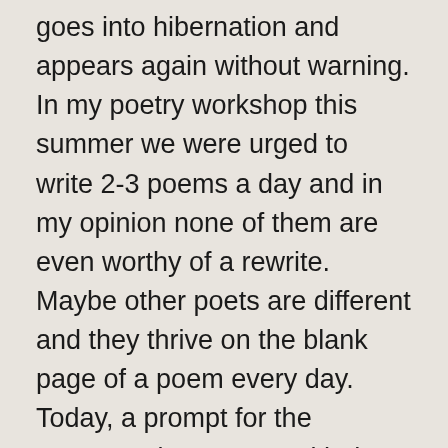goes into hibernation and appears again without warning. In my poetry workshop this summer we were urged to write 2-3 poems a day and in my opinion none of them are even worthy of a rewrite. Maybe other poets are different and they thrive on the blank page of a poem every day. Today, a prompt for the poets…write a poem with the theme of Emily Dickinson's words “true poems flee” you can use the words as a jumping off point or just refer to the theme. Some things to check when you finish your poem. Inspired by Writer’s Digest Writing Clinic.